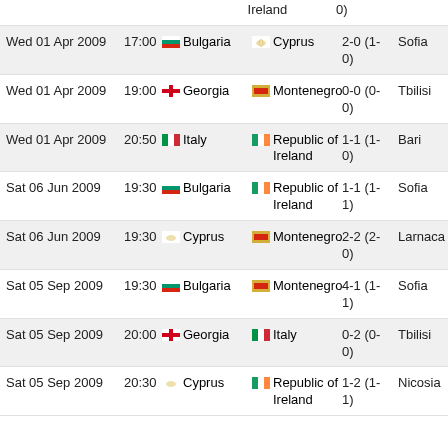| Date | Time | Home | Away | Score | Venue |
| --- | --- | --- | --- | --- | --- |
|  |  | Ireland |  | 0) |  |
| Wed 01 Apr 2009 | 17:00 | Bulgaria | Cyprus | 2-0 (1-0) | Sofia |
| Wed 01 Apr 2009 | 19:00 | Georgia | Montenegro | 0-0 (0-0) | Tbilisi |
| Wed 01 Apr 2009 | 20:50 | Italy | Republic of Ireland | 1-1 (1-0) | Bari |
| Sat 06 Jun 2009 | 19:30 | Bulgaria | Republic of Ireland | 1-1 (1-1) | Sofia |
| Sat 06 Jun 2009 | 19:30 | Cyprus | Montenegro | 2-2 (2-0) | Larnaca |
| Sat 05 Sep 2009 | 19:30 | Bulgaria | Montenegro | 4-1 (1-1) | Sofia |
| Sat 05 Sep 2009 | 20:00 | Georgia | Italy | 0-2 (0-0) | Tbilisi |
| Sat 05 Sep 2009 | 20:30 | Cyprus | Republic of Ireland | 1-2 (1-1) | Nicosia |